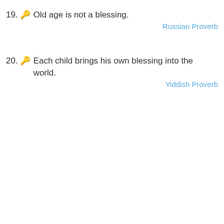19. 🔑 Old age is not a blessing.
Russian Proverb
20. 🔑 Each child brings his own blessing into the world.
Yiddish Proverb